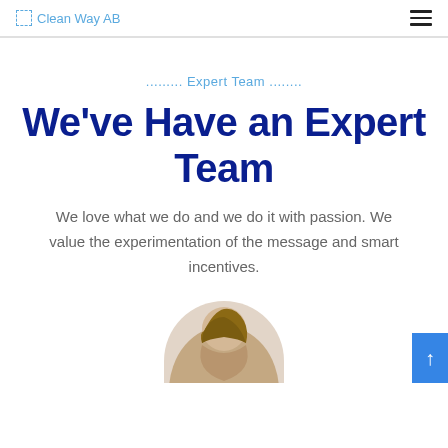Clean Way AB
......... Expert Team ........
We've Have an Expert Team
We love what we do and we do it with passion. We value the experimentation of the message and smart incentives.
[Figure (photo): Partial photo of a person with blonde hair tied up, visible from the back/top, cropped at the bottom of the page within a circular frame]